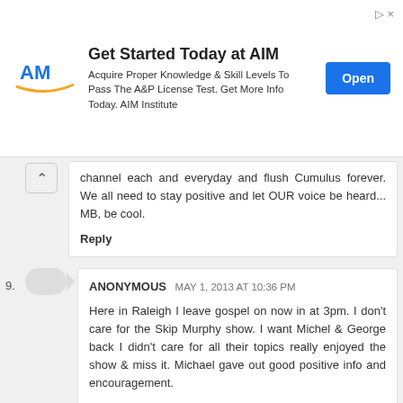[Figure (other): Advertisement banner for AIM Institute. Logo with 'AM' and swoosh. Title: Get Started Today at AIM. Body: Acquire Proper Knowledge & Skill Levels To Pass The A&P License Test. Get More Info Today. AIM Institute. Blue Open button.]
channel each and everyday and flush Cumulus forever. We all need to stay positive and let OUR voice be heard... MB, be cool.
Reply
ANONYMOUS MAY 1, 2013 AT 10:36 PM
Here in Raleigh I leave gospel on now in at 3pm. I don't care for the Skip Murphy show. I want Michel & George back I didn't care for all their topics really enjoyed the show & miss it. Michael gave out good positive info and encouragement.
Reply
ANONYMOUS MAY 1, 2013 AT 10:54 PM